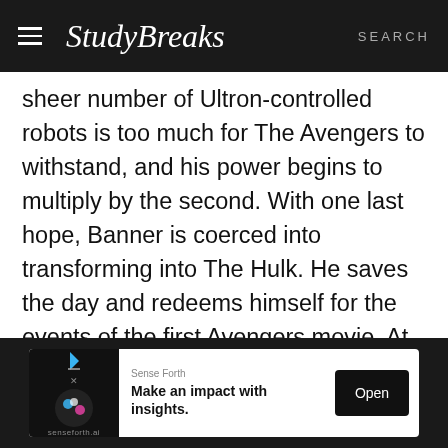StudyBreaks SEARCH
sheer number of Ultron-controlled robots is too much for The Avengers to withstand, and his power begins to multiply by the second. With one last hope, Banner is coerced into transforming into The Hulk. He saves the day and redeems himself for the events of the first Avengers movie. At the end, he is seen exerting a little more control over The Hulk that lays inside of him.
[Figure (screenshot): Advertisement banner for Sense Forth: 'Make an impact with insights.' with an Open button]